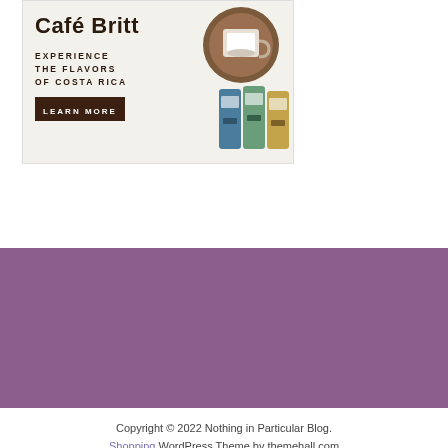[Figure (illustration): Café Britt advertisement banner showing 'Experience the Flavors of Costa Rica' with a Learn More button, coffee products and a coffee cup on a wooden tray. Light beige background.]
[Figure (illustration): Solid purple/mauve horizontal band spanning full width of page]
Copyright © 2022 Nothing in Particular Blog. Shopping WordPress Theme by themehall.com